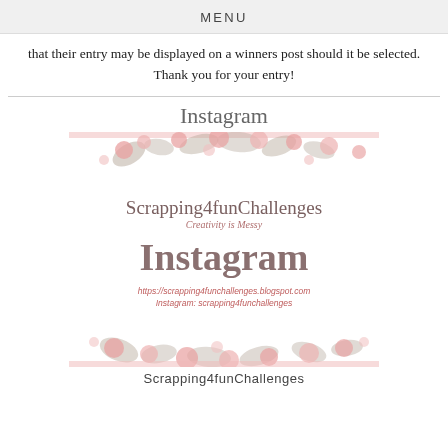MENU
that their entry may be displayed on a winners post should it be selected. Thank you for your entry!
[Figure (illustration): Instagram banner for Scrapping4funChallenges blog with floral decorations (pink cherry blossoms and green leaves), the text 'Scrapping4funChallenges Creativity is Messy', large 'Instagram' script text, website URL https://scrapping4funchallenges.blogspot.com and Instagram handle scrapping4funchallenges]
Scrapping4funChallenges